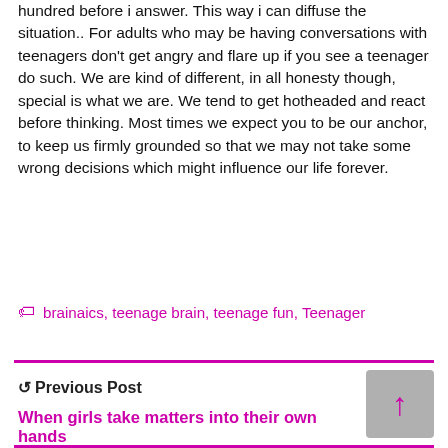hundred before i answer. This way i can diffuse the situation.. For adults who may be having conversations with teenagers don't get angry and flare up if you see a teenager do such. We are kind of different, in all honesty though, special is what we are. We tend to get hotheaded and react before thinking. Most times we expect you to be our anchor, to keep us firmly grounded so that we may not take some wrong decisions which might influence our life forever.
brainaics, teenage brain, teenage fun, Teenager
Previous Post
When girls take matters into their own hands